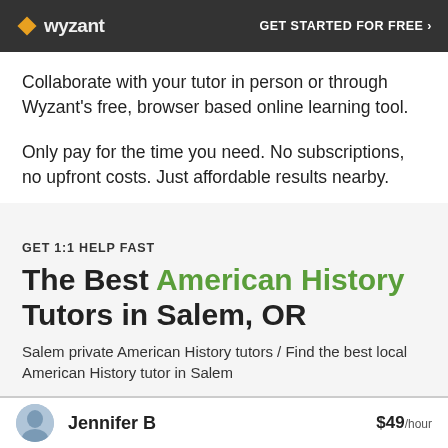wyzant  GET STARTED FOR FREE ›
Collaborate with your tutor in person or through Wyzant's free, browser based online learning tool.
Only pay for the time you need. No subscriptions, no upfront costs. Just affordable results nearby.
GET 1:1 HELP FAST
The Best American History Tutors in Salem, OR
Salem private American History tutors / Find the best local American History tutor in Salem
Jennifer B   $49/hour